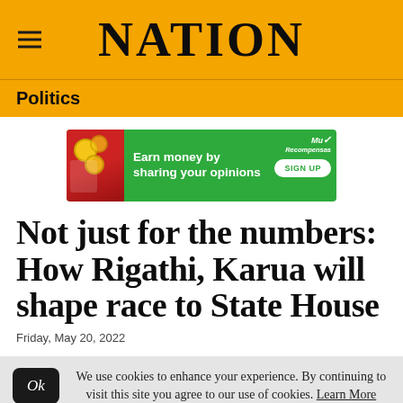NATION
Politics
[Figure (other): Advertisement banner: green background with text 'Earn money by sharing your opinions' and a 'SIGN UP' button, with MuRecompensas logo]
Not just for the numbers: How Rigathi, Karua will shape race to State House
Friday, May 20, 2022
We use cookies to enhance your experience. By continuing to visit this site you agree to our use of cookies. Learn More